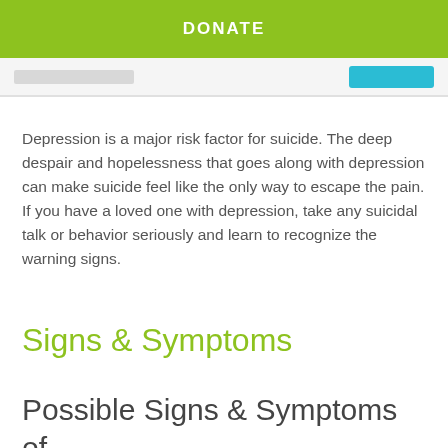DONATE
Depression is a major risk factor for suicide. The deep despair and hopelessness that goes along with depression can make suicide feel like the only way to escape the pain. If you have a loved one with depression, take any suicidal talk or behavior seriously and learn to recognize the warning signs.
Signs & Symptoms
Possible Signs & Symptoms of Depression